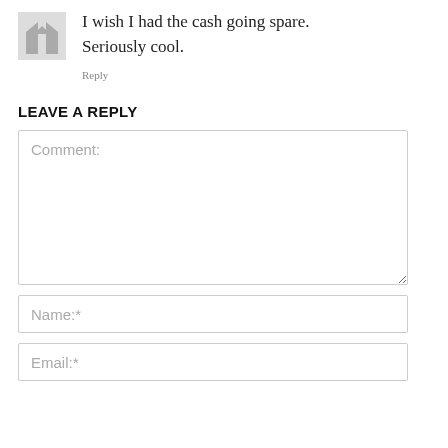I wish I had the cash going spare. Seriously cool.
Reply
LEAVE A REPLY
Comment:
Name:*
Email:*